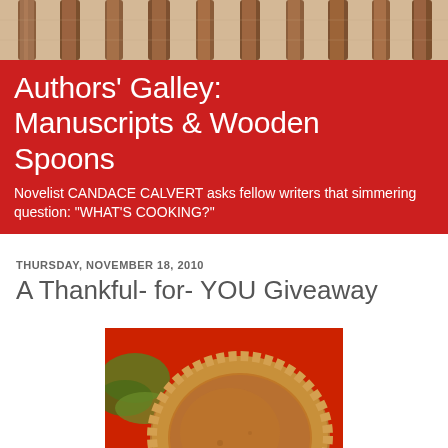[Figure (photo): Close-up photo of wooden spoons handles against a light wood background, viewed from above]
Authors' Galley: Manuscripts & Wooden Spoons
Novelist CANDACE CALVERT asks fellow writers that simmering question: "WHAT'S COOKING?"
THURSDAY, NOVEMBER 18, 2010
A Thankful- for- YOU Giveaway
[Figure (photo): A pumpkin pie with golden brown crimped crust on a red background, with the word 'Thankful' written in white on the pie]